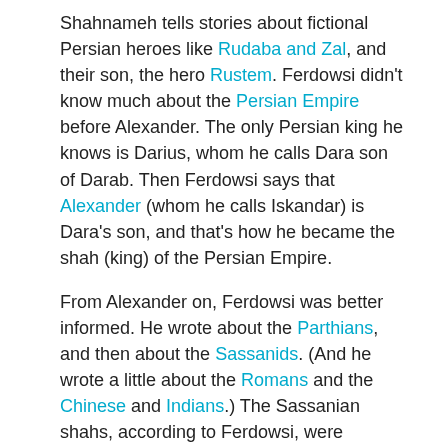Shahnameh tells stories about fictional Persian heroes like Rudaba and Zal, and their son, the hero Rustem. Ferdowsi didn't know much about the Persian Empire before Alexander. The only Persian king he knows is Darius, whom he calls Dara son of Darab. Then Ferdowsi says that Alexander (whom he calls Iskandar) is Dara's son, and that's how he became the shah (king) of the Persian Empire.
From Alexander on, Ferdowsi was better informed. He wrote about the Parthians, and then about the Sassanids. (And he wrote a little about the Romans and the Chinese and Indians.) The Sassanian shahs, according to Ferdowsi, were supported by their Zoroastrian "farr", or spirit. But the later Sassanian kings were corrupt and unjust, living the Lie, and their farr deserted them. In this way, Ferdowsi's moral echoes Augustine's City of God. Ferdowsi himself was a Shiite Muslim. The Shahnameh ends almost in the poet's own time, with the Islamic conquest of Iran from the Sassanids